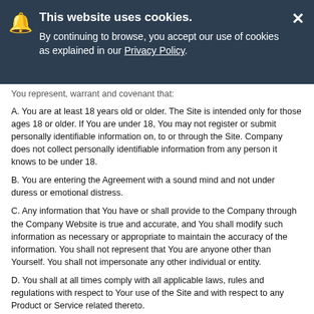TRANSFER EXPRESS
[Figure (other): Cookie consent banner overlay with bell icon and close button. Text: This website uses cookies. By continuing to browse, you accept our use of cookies as explained in our Privacy Policy.]
You represent, warrant and covenant that:
A. You are at least 18 years old or older. The Site is intended only for those ages 18 or older. If You are under 18, You may not register or submit personally identifiable information on, to or through the Site. Company does not collect personally identifiable information from any person it knows to be under 18.
B. You are entering the Agreement with a sound mind and not under duress or emotional distress.
C. Any information that You have or shall provide to the Company through the Company Website is true and accurate, and You shall modify such information as necessary or appropriate to maintain the accuracy of the information. You shall not represent that You are anyone other than Yourself. You shall not impersonate any other individual or entity.
D. You shall at all times comply with all applicable laws, rules and regulations with respect to Your use of the Site and with respect to any Product or Service related thereto.
E. You shall not use the Site to infringe, misappropriate or violate any rights of the Company and/or any third party, including, but not limited to any User of the Company or any entity associated with or visiting the Site.
F. You shall comply at all times with the Agreement, including any modifications to the Agreement and/or the Agreements to which there is or may in the future be a link and a reference herein.
G. ou shall not upload or use any Content that does not meet acceptable community standards, including Content that could be considered harmful, obscene, pornographic, indecent, lewd, violent, abusive, profane, insulting, threatening, tortious, harassing, hateful or otherwise objectionable; that harasses, victimizes, degrades, or intimidates an individual or group of individuals on the basis of religion, race, ethnicity, sexual orientation, gender,